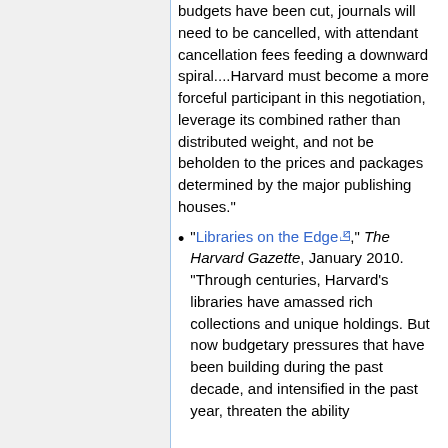budgets have been cut, journals will need to be cancelled, with attendant cancellation fees feeding a downward spiral....Harvard must become a more forceful participant in this negotiation, leverage its combined rather than distributed weight, and not be beholden to the prices and packages determined by the major publishing houses."
"Libraries on the Edge," The Harvard Gazette, January 2010. "Through centuries, Harvard's libraries have amassed rich collections and unique holdings. But now budgetary pressures that have been building during the past decade, and intensified in the past year, threaten the ability...